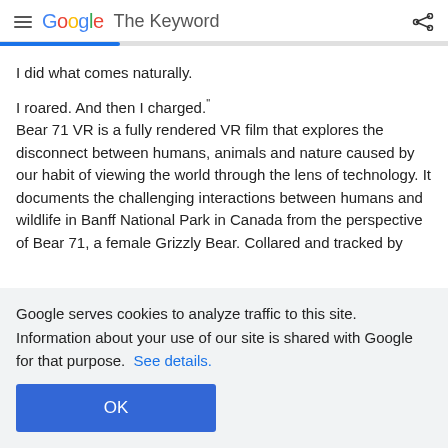Google The Keyword
I did what comes naturally.

I roared. And then I charged.”
Bear 71 VR is a fully rendered VR film that explores the disconnect between humans, animals and nature caused by our habit of viewing the world through the lens of technology. It documents the challenging interactions between humans and wildlife in Banff National Park in Canada from the perspective of Bear 71, a female Grizzly Bear. Collared and tracked by
Google serves cookies to analyze traffic to this site. Information about your use of our site is shared with Google for that purpose.  See details.
OK